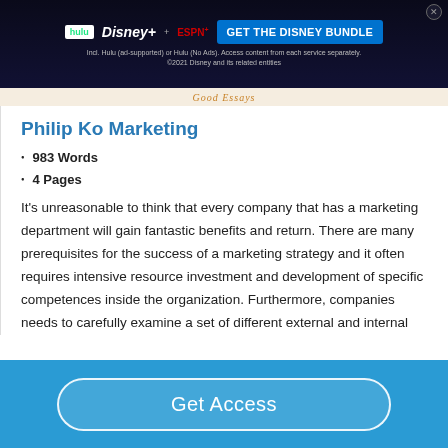[Figure (screenshot): Disney Bundle advertisement banner with Hulu, Disney+, ESPN+ logos and 'GET THE DISNEY BUNDLE' call to action button]
Good Essays
Philip Ko Marketing
983 Words
4 Pages
It's unreasonable to think that every company that has a marketing department will gain fantastic benefits and return. There are many prerequisites for the success of a marketing strategy and it often requires intensive resource investment and development of specific competences inside the organization. Furthermore, companies needs to carefully examine a set of different external and internal
[Figure (other): Get Access button in blue bar at bottom of page]